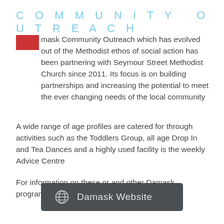COMMUNITY OUTREACH
Damask Community Outreach which has evolved out of the Methodist ethos of social action has been partnering with Seymour Street Methodist Church since 2011. Its focus is on building partnerships and increasing the potential to meet the ever changing needs of the local community
A wide range of age profiles are catered for through activities such as the Toddlers Group, all age Drop In and Tea Dances and a highly used facility is the weekly Advice Centre
For information on these or and other Damask programmes visit the damask website
[Figure (other): Dark grey rounded button with globe icon and text 'Damask Website']